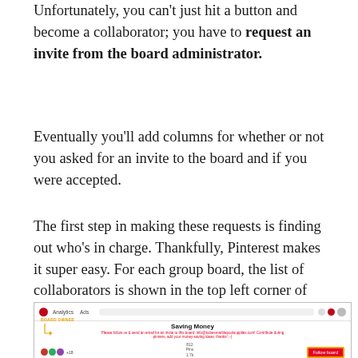Unfortunately, you can't just hit a button and become a collaborator; you have to request an invite from the board administrator.
Eventually you'll add columns for whether or not you asked for an invite to the board and if you were accepted.
The first step in making these requests is finding out who's in charge. Thankfully, Pinterest makes it super easy. For each group board, the list of collaborators is shown in the top left corner of the page. The first account listed is the board owner.
[Figure (screenshot): Screenshot of a Pinterest group board called 'Saving Money' showing the board owner label with an arrow pointing to the first collaborator avatar. A red 'Follow board' button is visible on the right.]